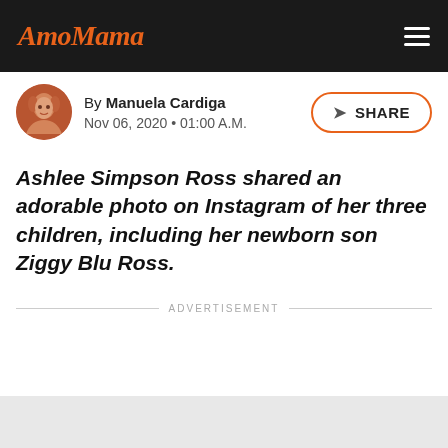AmoMama
By Manuela Cardiga
Nov 06, 2020 • 01:00 A.M.
Ashlee Simpson Ross shared an adorable photo on Instagram of her three children, including her newborn son Ziggy Blu Ross.
ADVERTISEMENT